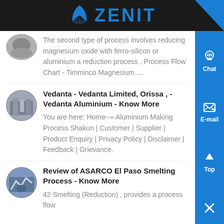ZENIT
The second type of process involves reducing magnesium oxide with ferro-silicon or aluminium a reduction process , Process Flow Chart - Timminco Magnesium ....
Vedanta - Vedanta Limited, Orissa , - Vedanta Aluminium - Know More
You are here: Home--» Aluminium Making Process Shakun | Customer | Supplier | Product Enquiry | Privacy Policy | Disclaimer | Feedback | Grievance.
Review of ASARCO El Paso Smelting Process - Know More
42 Smelting (Reduction) , provides a process flow